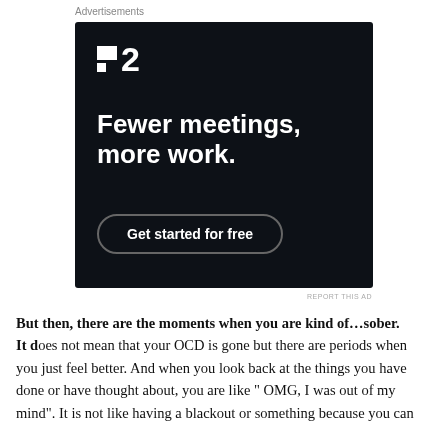Advertisements
[Figure (other): Advertisement for a project management tool showing logo '▪2', headline 'Fewer meetings, more work.' and a 'Get started for free' button on dark background]
REPORT THIS AD
But then, there are the moments when you are kind of…sober. It does not mean that your OCD is gone but there are periods when you just feel better. And when you look back at the things you have done or have thought about, you are like " OMG, I was out of my mind". It is not like having a blackout or something because you can